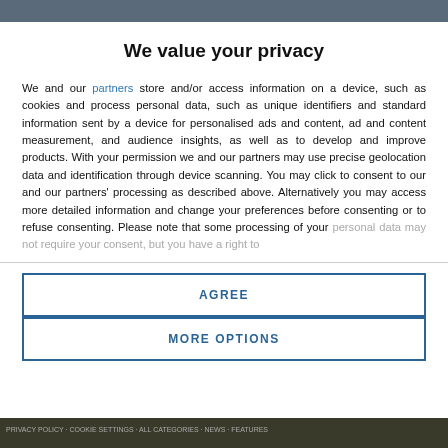[Figure (screenshot): Top navigation bar strip of a website, partially visible, dark grey background]
We value your privacy
We and our partners store and/or access information on a device, such as cookies and process personal data, such as unique identifiers and standard information sent by a device for personalised ads and content, ad and content measurement, and audience insights, as well as to develop and improve products. With your permission we and our partners may use precise geolocation data and identification through device scanning. You may click to consent to our and our partners' processing as described above. Alternatively you may access more detailed information and change your preferences before consenting or to refuse consenting. Please note that some processing of your personal data may not require your consent, but you have a right to
AGREE
MORE OPTIONS
[Figure (screenshot): Bottom strip of a website page, dark background with small text]